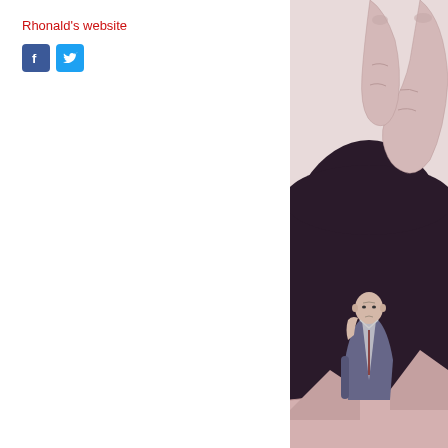Rhonald's website
[Figure (illustration): Illustration showing a giant hand pressing down from above into a dark void, with a small bald man in a suit sitting at a desk below, resting his chin on his hand looking worried or contemplative.]